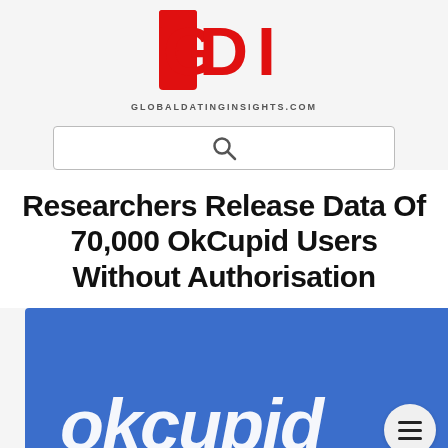[Figure (logo): GDI (Global Dating Insights) logo in red block letters with GLOBALDATINGINSIGHTS.COM below]
[Figure (screenshot): Search bar with magnifying glass icon]
Researchers Release Data Of 70,000 OkCupid Users Without Authorisation
[Figure (photo): OkCupid logo on blue background with hamburger menu button overlay]